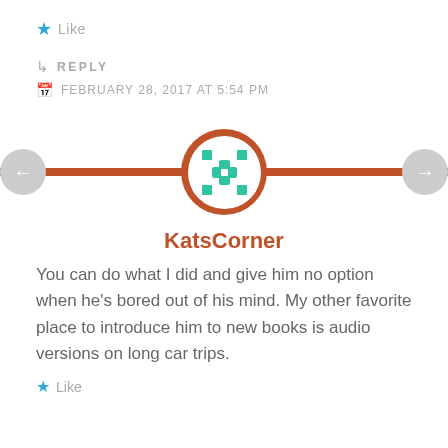★ Like
↳ REPLY
FEBRUARY 28, 2017 AT 5:54 PM
[Figure (illustration): Circular avatar with decorative green pattern on white background, enclosed in an orange/rust colored circle. A rust-colored horizontal divider line runs behind it. Navigation arrows (left and right) are partially visible on the sides.]
KatsCorner
You can do what I did and give him no option when he’s bored out of his mind. My other favorite place to introduce him to new books is audio versions on long car trips.
★ Like